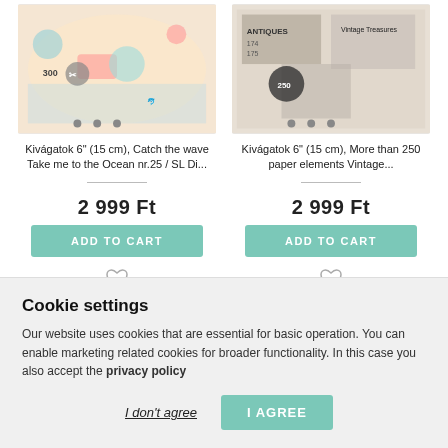[Figure (screenshot): Product image for Kivágatok 6 inch Catch the wave Take me to the Ocean nr.25 SL Di - colorful beach/ocean themed paper elements collage]
Kivágatok 6" (15 cm), Catch the wave Take me to the Ocean nr.25 / SL Di...
2 999 Ft
ADD TO CART
[Figure (screenshot): Product image for Kivágatok 6 inch More than 250 paper elements Vintage - black and white vintage themed paper elements collage]
Kivágatok 6" (15 cm), More than 250 paper elements Vintage...
2 999 Ft
ADD TO CART
Cookie settings
Our website uses cookies that are essential for basic operation. You can enable marketing related cookies for broader functionality. In this case you also accept the privacy policy
I don't agree
I AGREE